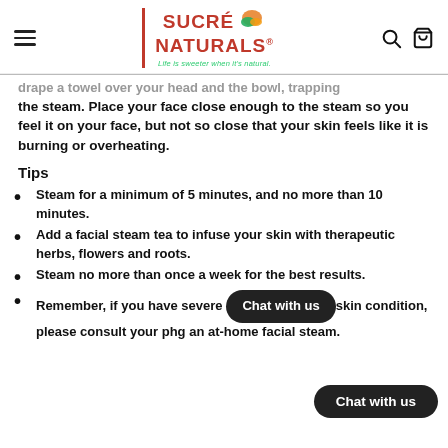Sucré Naturals — Life is sweeter when it's natural.
drape a towel over your head and the bowl, trapping the steam. Place your face close enough to the steam so you feel it on your face, but not so close that your skin feels like it is burning or overheating.
Tips
Steam for a minimum of 5 minutes, and no more than 10 minutes.
Add a facial steam tea to infuse your skin with therapeutic herbs, flowers and roots.
Steam no more than once a week for the best results.
Remember, if you have severe skin condition, please consult your physician before doing an at-home facial steam.